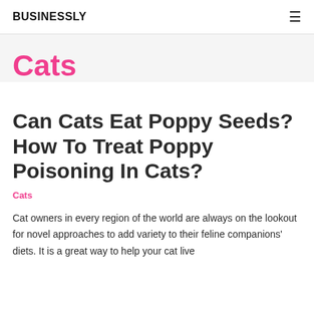BUSINESSLY
Cats
Can Cats Eat Poppy Seeds? How To Treat Poppy Poisoning In Cats?
Cats
Cat owners in every region of the world are always on the lookout for novel approaches to add variety to their feline companions' diets. It is a great way to help your cat live...